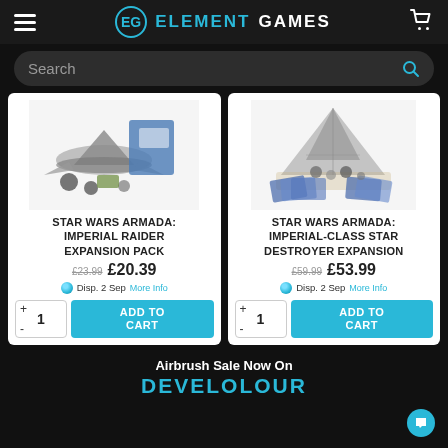ELEMENT GAMES
Search
[Figure (photo): Star Wars Armada Imperial Raider Expansion Pack product photo showing miniature ships and tokens]
STAR WARS ARMADA: IMPERIAL RAIDER EXPANSION PACK
£23.99  £20.39  Disp. 2 Sep  More Info
[Figure (photo): Star Wars Armada Imperial-Class Star Destroyer Expansion product photo showing large ship miniature and cards]
STAR WARS ARMADA: IMPERIAL-CLASS STAR DESTROYER EXPANSION
£59.99  £53.99  Disp. 2 Sep  More Info
Airbrush Sale Now On
DEVELOLOUR